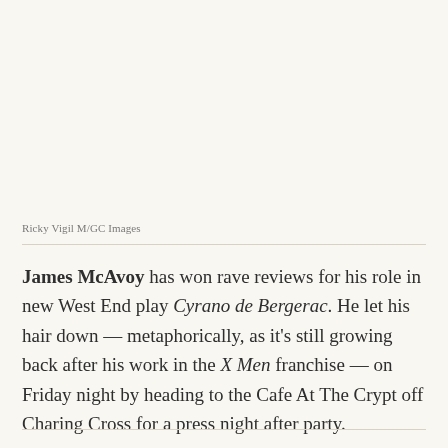Ricky Vigil M/GC Images
James McAvoy has won rave reviews for his role in new West End play Cyrano de Bergerac. He let his hair down — metaphorically, as it's still growing back after his work in the X Men franchise — on Friday night by heading to the Cafe At The Crypt off Charing Cross for a press night after party.